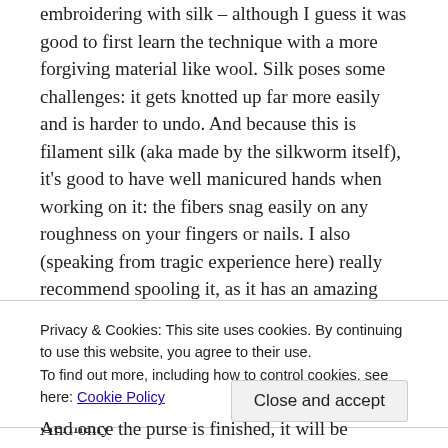embroidering with silk – although I guess it was good to first learn the technique with a more forgiving material like wool. Silk poses some challenges: it gets knotted up far more easily and is harder to undo. And because this is filament silk (aka made by the silkworm itself), it's good to have well manicured hands when working on it: the fibers snag easily on any roughness on your fingers or nails. I also (speaking from tragic experience here) really recommend spooling it, as it has an amazing capacity to get all knotted and messed up in itself.
The filament silk was ordered via a friend from Germany
Privacy & Cookies: This site uses cookies. By continuing to use this website, you agree to their use.
To find out more, including how to control cookies, see here: Cookie Policy
Close and accept
And once the purse is finished, it will be finished with cute